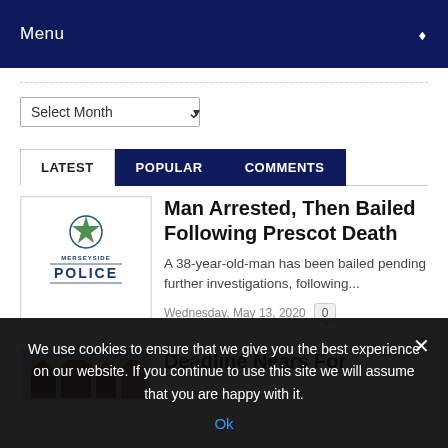Menu
Select Month
LATEST | POPULAR | COMMENTS
Man Arrested, Then Bailed Following Prescot Death
A 38-year-old-man has been bailed pending further investigations, following...
Wednesday, May 13, 2020  0
[Figure (logo): Merseyside Police logo - police crest with text MERSEYSIDE POLICE]
Deadline Nears For
[Figure (photo): Partially visible thumbnail image of buildings/houses]
We use cookies to ensure that we give you the best experience on our website. If you continue to use this site we will assume that you are happy with it.
Ok